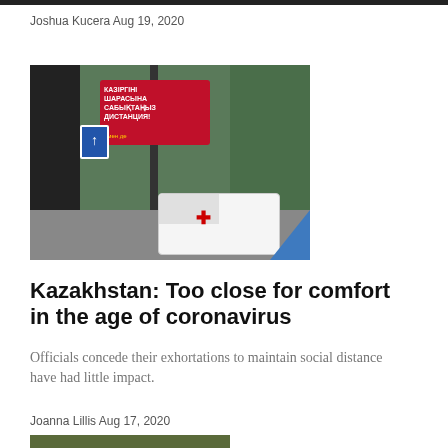Joshua Kucera Aug 19, 2020
[Figure (photo): Street scene with an ambulance passing under a red COVID-19 social distancing billboard on a pole, with trees in the background and a road sign visible]
Kazakhstan: Too close for comfort in the age of coronavirus
Officials concede their exhortations to maintain social distance have had little impact.
Joanna Lillis Aug 17, 2020
[Figure (photo): Partial bottom photo strip, appears to show vegetation or outdoor scene]